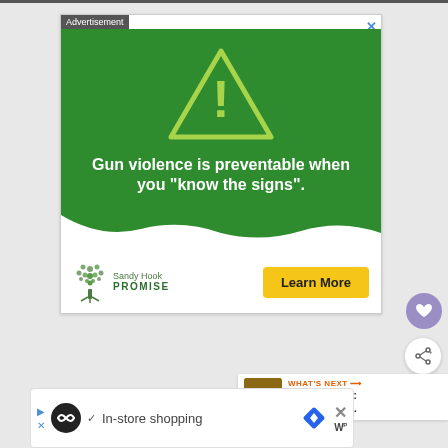[Figure (screenshot): Web browser screenshot showing an advertisement from Sandy Hook Promise with green background, warning triangle icon, and text: 'Gun violence is preventable when you "know the signs".' with a 'Learn More' button. Below is a bottom banner ad with 'In-store shopping' text.]